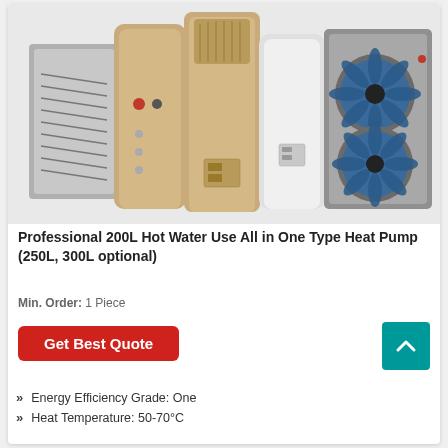[Figure (photo): Multiple heat pump units displayed: a wall-mounted split unit (gray), two all-in-one integrated cylinder units (champagne/bronze color), a standalone white cylinder unit, and a large commercial outdoor unit with dual fans (gray). Product showcase for heat pump water heaters.]
Professional 200L Hot Water Use All in One Type Heat Pump (250L, 300L optional)
Min. Order: 1 Piece
Get Best Quote
Energy Efficiency Grade: One
Heat Temperature: 50-70°C